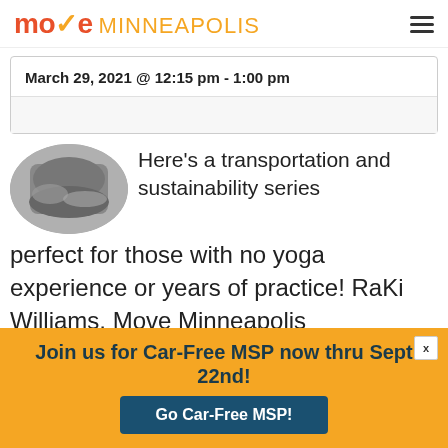move MINNEAPOLIS
March 29, 2021 @ 12:15 pm - 1:00 pm
[Figure (photo): Thumbnail photo of a person doing yoga, shown in a rounded/oval frame]
Here's a transportation and sustainability series perfect for those with no yoga experience or years of practice! RaKi Williams, Move Minneapolis
Join us for Car-Free MSP now thru Sept 22nd! Go Car-Free MSP!